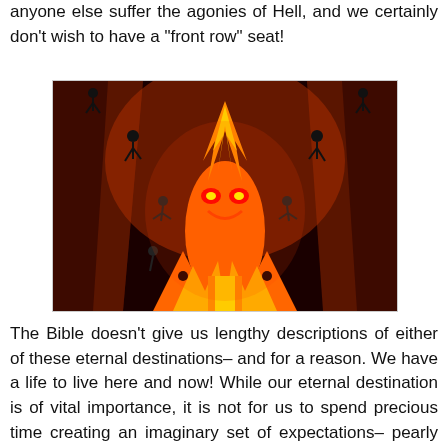anyone else suffer the agonies of Hell, and we certainly don't wish to have a "front row" seat!
[Figure (illustration): Artistic illustration of Hell showing a demonic fire figure with glowing eyes in the center, surrounded by silhouettes of people falling from cliffs into flames. The image has deep red, orange, and dark tones.]
The Bible doesn't give us lengthy descriptions of either of these eternal destinations– and for a reason. We have a life to live here and now! While our eternal destination is of vital importance, it is not for us to spend precious time creating an imaginary set of expectations– pearly gates or fire and brimstone–in